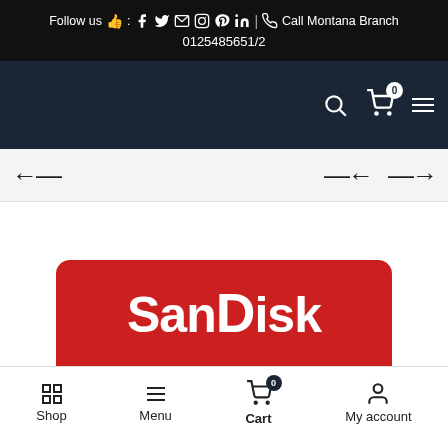Follow us 👍 : [facebook] [twitter] [email] [instagram] [pinterest] [linkedin] | [phone] Call Montana Branch 0125485651/2
[Figure (screenshot): Dark navy navigation bar with search icon, shopping cart with 0 badge, and hamburger menu icon on the right side]
[Figure (screenshot): Light gray breadcrumb navigation bar with left arrow icon on the left and two navigation arrows (back and forward) on the right]
[Figure (screenshot): SanDisk product banner - red rounded rectangle with white SanDisk logo text]
Shop  Menu  Cart 0  My account